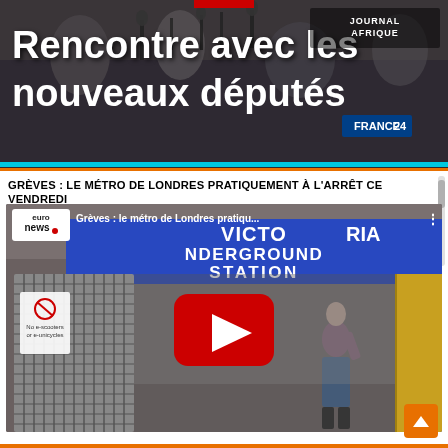[Figure (screenshot): France 24 / Journal Afrique banner showing 'Rencontre avec les nouveaux députés' with a press conference background, microphones visible, Journal Afrique branding top right, cyan bar at bottom, red tab at top center]
Rencontre avec les nouveaux députés
GRÈVES : LE MÉTRO DE LONDRES PRATIQUEMENT À L'ARRÊT CE VENDREDI
[Figure (screenshot): Euronews YouTube video thumbnail showing Victoria Underground Station with gates closed, a person standing outside, YouTube play button overlaid. Video title: 'Grèves : le métro de Londres pratiqu...']